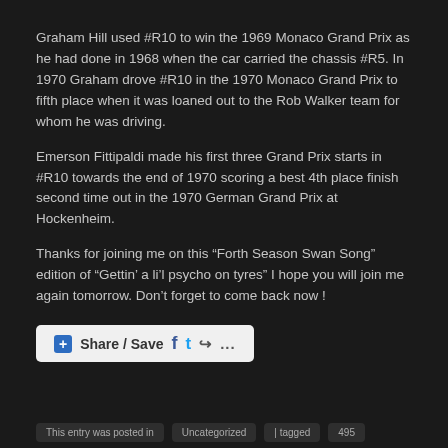Graham Hill used #R10 to win the 1969 Monaco Grand Prix as he had done in 1968 when the car carried the chassis #R5. In 1970 Graham drove #R10 in the 1970 Monaco Grand Prix to fifth place when it was loaned out to the Rob Walker team for whom he was driving.
Emerson Fittipaldi made his first three Grand Prix starts in #R10 towards the end of 1970 scoring a best 4th place finish second time out in the 1970 German Grand Prix at Hockenheim.
Thanks for joining me on this “Forth Season Swan Song” edition of “Gettin’ a li’l psycho on tyres” I hope you will join me again tomorrow. Don’t forget to come back now !
[Figure (other): Share / Save button with Facebook, Twitter, and share icons]